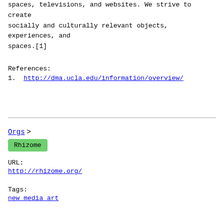spaces, televisions, and websites. We strive to create socially and culturally relevant objects, experiences, and spaces.[1]
References:
1. http://dma.ucla.edu/information/overview/
Orgs >
Rhizome
URL:
http://rhizome.org/
Tags:
new media art